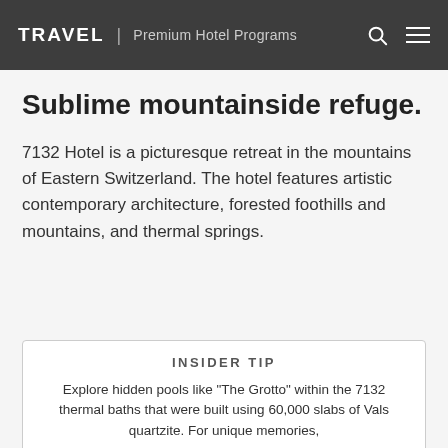TRAVEL | Premium Hotel Programs
Sublime mountainside refuge.
7132 Hotel is a picturesque retreat in the mountains of Eastern Switzerland. The hotel features artistic contemporary architecture, forested foothills and mountains, and thermal springs.
INSIDER TIP
Explore hidden pools like "The Grotto" within the 7132 thermal baths that were built using 60,000 slabs of Vals quartzite. For unique memories,